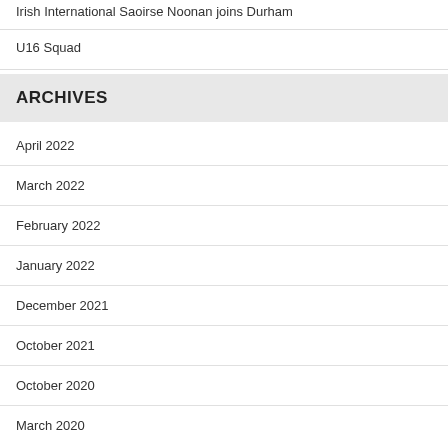Irish International Saoirse Noonan joins Durham
U16 Squad
ARCHIVES
April 2022
March 2022
February 2022
January 2022
December 2021
October 2021
October 2020
March 2020